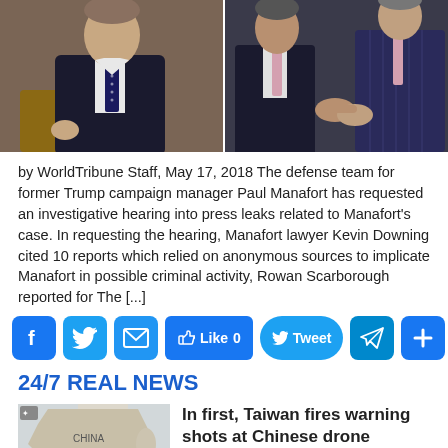[Figure (photo): Two side-by-side photos: left shows a man in a dark suit with a patterned tie; right shows two men in suits appearing to interact.]
by WorldTribune Staff, May 17, 2018 The defense team for former Trump campaign manager Paul Manafort has requested an investigative hearing into press leaks related to Manafort's case. In requesting the hearing, Manafort lawyer Kevin Downing cited 10 reports which relied on anonymous sources to implicate Manafort in possible criminal activity, Rowan Scarborough reported for The [...]
[Figure (infographic): Social sharing bar with Facebook, Twitter, Email, Like 0, Tweet, Telegram, and Share buttons]
24/7 REAL NEWS
[Figure (photo): Map thumbnail showing China/Taiwan region]
In first, Taiwan fires warning shots at Chinese drone